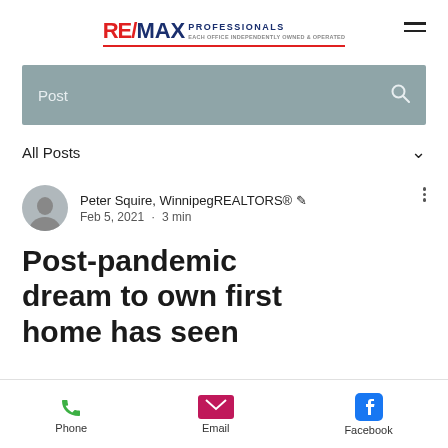RE/MAX PROFESSIONALS
Post
All Posts
Peter Squire, WinnipegREALTORS® ✒ Feb 5, 2021 · 3 min
Post-pandemic dream to own first home has seen
Phone  Email  Facebook